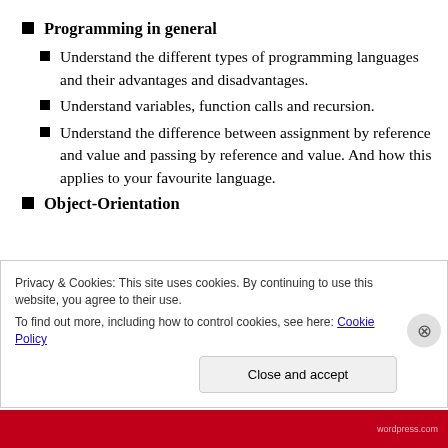Programming in general
Understand the different types of programming languages and their advantages and disadvantages.
Understand variables, function calls and recursion.
Understand the difference between assignment by reference and value and passing by reference and value. And how this applies to your favourite language.
Object-Orientation
Privacy & Cookies: This site uses cookies. By continuing to use this website, you agree to their use.
To find out more, including how to control cookies, see here: Cookie Policy
Close and accept